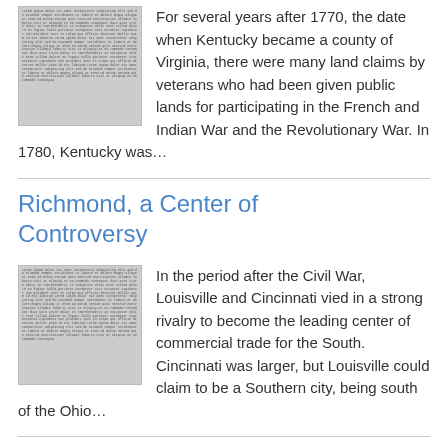For several years after 1770, the date when Kentucky became a county of Virginia, there were many land claims by veterans who had been given public lands for participating in the French and Indian War and the Revolutionary War. In 1780, Kentucky was…
Richmond, a Center of Controversy
In the period after the Civil War, Louisville and Cincinnati vied in a strong rivalry to become the leading center of commercial trade for the South. Cincinnati was larger, but Louisville could claim to be a Southern city, being south of the Ohio…
An Adventure in the Dark
At two a.m. on the morning of May 19, 1880, a guest at the Garnett